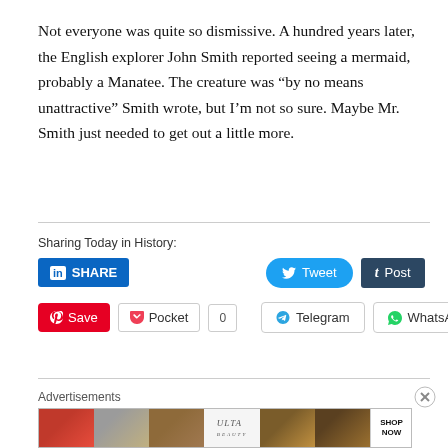Not everyone was quite so dismissive. A hundred years later, the English explorer John Smith reported seeing a mermaid, probably a Manatee. The creature was “by no means unattractive” Smith wrote, but I’m not so sure. Maybe Mr. Smith just needed to get out a little more.
Sharing Today in History:
[Figure (screenshot): Social sharing buttons: LinkedIn Share, Tweet, Tumblr Post, Pinterest Save, Pocket (count 0), Telegram, WhatsApp]
Advertisements
[Figure (photo): Ulta Beauty advertisement banner showing makeup imagery and SHOP NOW text]